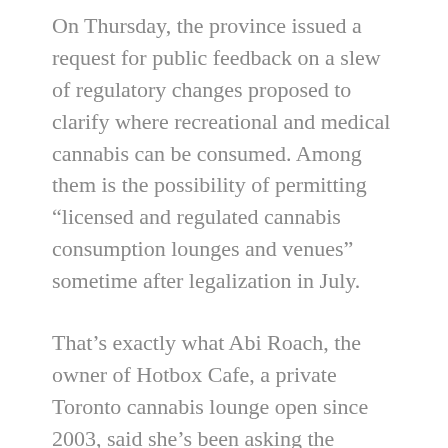On Thursday, the province issued a request for public feedback on a slew of regulatory changes proposed to clarify where recreational and medical cannabis can be consumed. Among them is the possibility of permitting “licensed and regulated cannabis consumption lounges and venues” sometime after legalization in July.
That’s exactly what Abi Roach, the owner of Hotbox Cafe, a private Toronto cannabis lounge open since 2003, said she’s been asking the province to do for six years.
Roach appeared before a legislative committee examining the provincial government’s pot laws in November and at the time urged politicians to ease their rules around where the drug could be consumed. She said she wanted the government to shift from what she sees as building policy based on “90 years of prohibitionist mentality” to something that is “functional and realistic to the needs of